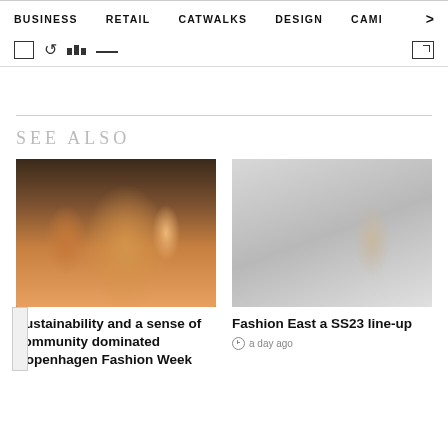BUSINESS   RETAIL   CATWALKS   DESIGN   CAMI  >
[Figure (screenshot): Icon toolbar row with bookmark, refresh, grid/bars, minus, and share icons]
[Figure (photo): Group of people at Copenhagen Fashion Week, warm toned orange and brown clothing]
SEE ALSO
[Figure (photo): Fashion designer with white dress form mannequin in studio]
Sustainability and a sense of community dominated Copenhagen Fashion Week
Fashion East a SS23 line-up
a day ago